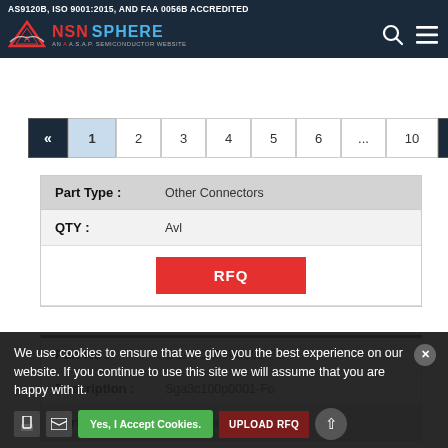AS9120B, ISO 9001:2015, AND FAA 0056B ACCREDITED | NSN SPHERE - AN A.S.A.P. SEMICONDUCTOR WEBSITE
« 1 2 3 4 5 6 ... 10 »
| Field | Value |
| --- | --- |
| Part Type : | Other Connectors |
| QTY : | Avl |
|  | RFQ |
| Part No : | SGA3C100P0001-FO |
| Description : | Sga3c100p0001-Fo |
| Part Type : | Other Connectors |
| QTY : | Avl |
We use cookies to ensure that we give you the best experience on our website. If you continue to use this site we will assume that you are happy with it.
Yes, I Accept Cookies. | UPLOAD RFQ